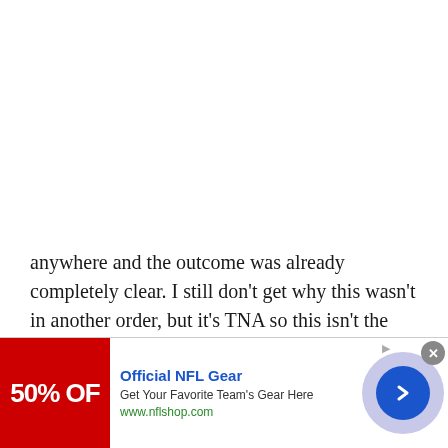anywhere and the outcome was already completely clear. I still don't get why this wasn't in another order, but it's TNA so this isn't the biggest problem that they have to deal with. It also
[Figure (screenshot): Advertisement banner for Official NFL Gear showing 50% OFF with red background image, blue title text, subtitle 'Get Your Favorite Team's Gear Here', URL www.nflshop.com, and a blue arrow button on the right with a light purple circle background. A close X button is in the upper right corner.]